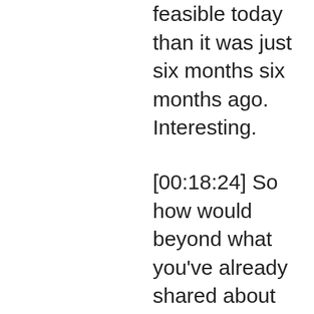feasible today than it was just six months six months ago. Interesting.
[00:18:24] So how would beyond what you've already shared about Nimba Link and what you do when you think about the why you're why whether you interpret that as founding the company or your Y to grow in the company and in serving and having a reason for. Listing a reason for jumping into bed in the morning and going to bed, not thinking about no link and what you do for your